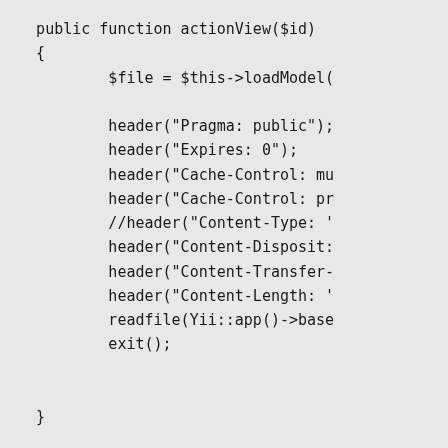public function actionView($id)
    {
            $file = $this->loadModel(

            header("Pragma: public");
            header("Expires: 0");
            header("Cache-Control: mu
            header("Cache-Control: pr
            //header("Content-Type: '
            header("Content-Disposit:
            header("Content-Transfer-
            header("Content-Length: '
            readfile(Yii::app()->base
            exit();


    }